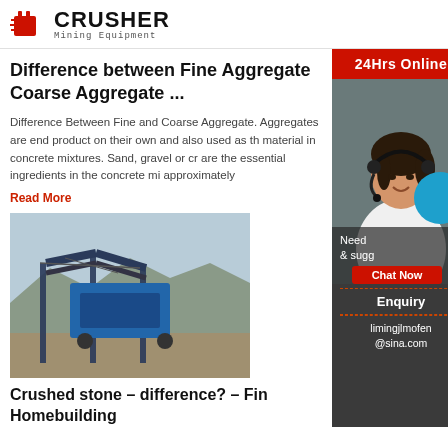[Figure (logo): Crusher Mining Equipment logo with red shopping-cart icon and bold CRUSHER text]
Difference between Fine Aggregate Coarse Aggregate ...
Difference Between Fine and Coarse Aggregate. Aggregates are end product on their own and also used as the material in concrete mixtures. Sand, gravel or cr... are the essential ingredients in the concrete mix... approximately
Read More
[Figure (photo): Industrial crusher/conveyor equipment at a mining site with mountains in background]
Crushed stone - difference? - Fine... Homebuilding
[Figure (infographic): Right sidebar: 24Hrs Online banner, photo of woman with headset, Need & suggestions text, Chat Now button, Enquiry link, limingjlmofen@sina.com email, blue circle overlay]